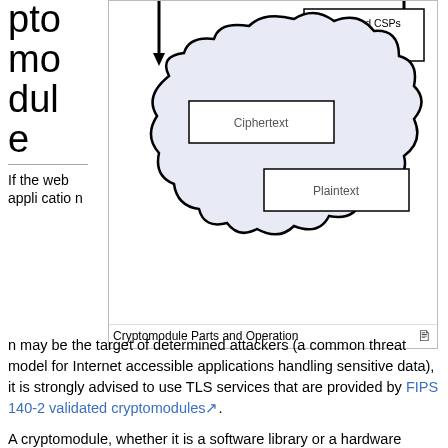ptomodule
[Figure (schematic): Cryptomodule Parts and Operation diagram showing a cloud shape containing Ciphertext and Plaintext boxes, with 'Keys and CSPs outside the module' label and arrows]
Cryptomodule Parts and Operation
If the web application may be the target of determined attackers (a common threat model for Internet accessible applications handling sensitive data), it is strongly advised to use TLS services that are provided by FIPS 140-2 validated cryptomodules.
A cryptomodule, whether it is a software library or a hardware device, basically consists of three parts:
Components that implement cryptographic algorithms (symmetric and asymmetric algorithms, hash algorithms, random number generator algorithms, and message authentication code algorithms)